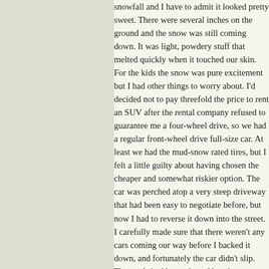snowfall and I have to admit it looked pretty sweet. There were several inches on the ground and the snow was still coming down. It was light, powdery stuff that melted quickly when it touched our skin. For the kids the snow was pure excitement but I had other things to worry about. I'd decided not to pay threefold the price to rent an SUV after the rental company refused to guarantee me a four-wheel drive, so we had a regular front-wheel drive full-size car. At least we had the mud-snow rated tires, but I felt a little guilty about having chosen the cheaper and somewhat riskier option. The car was perched atop a very steep driveway that had been easy to negotiate before, but now I had to reverse it down into the street. I carefully made sure that there weren't any cars coming our way before I backed it down, and fortunately the car didn't slip. The roads had been plowed but the snow on the asphalt had already largely been churned to slush by morning traffic. It was unnerving driving in snow again after so long. Funnily enough, I'd driven through much worse countless times in Boston during my residency with a light front-wheel dr